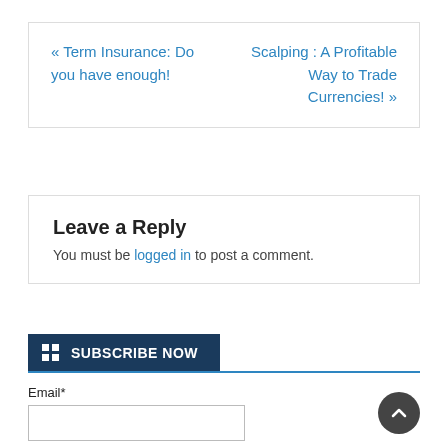« Term Insurance: Do you have enough!
Scalping : A Profitable Way to Trade Currencies! »
Leave a Reply
You must be logged in to post a comment.
SUBSCRIBE NOW
Email*